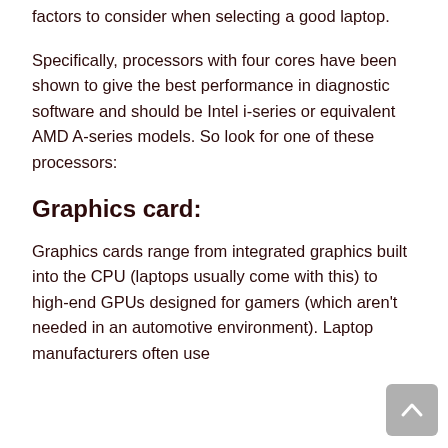factors to consider when selecting a good laptop.
Specifically, processors with four cores have been shown to give the best performance in diagnostic software and should be Intel i-series or equivalent AMD A-series models. So look for one of these processors:
Graphics card:
Graphics cards range from integrated graphics built into the CPU (laptops usually come with this) to high-end GPUs designed for gamers (which aren't needed in an automotive environment). Laptop manufacturers often use